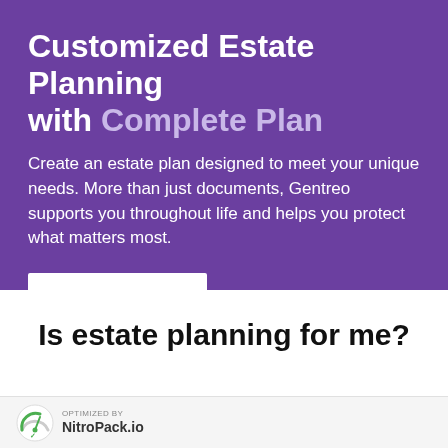Customized Estate Planning with Complete Plan
Create an estate plan designed to meet your unique needs. More than just documents, Gentreo supports you throughout life and helps you protect what matters most.
GET STARTED
Is estate planning for me?
[Figure (logo): NitroPack.io logo with text 'OPTIMIZED BY NitroPack.io']